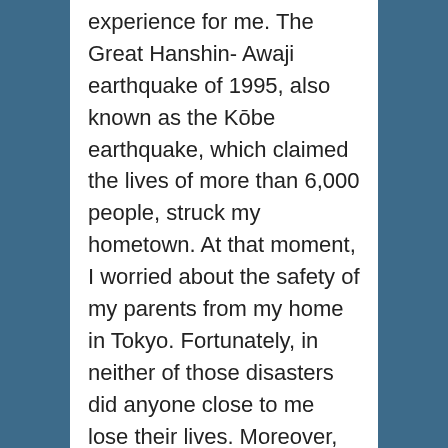experience for me. The Great Hanshin- Awaji earthquake of 1995, also known as the Kōbe earthquake, which claimed the lives of more than 6,000 people, struck my hometown. At that moment, I worried about the safety of my parents from my home in Tokyo. Fortunately, in neither of those disasters did anyone close to me lose their lives. Moreover, in both cases, despite witnessing scenes of the stricken areas in real-time via the television screen, the first time I actually